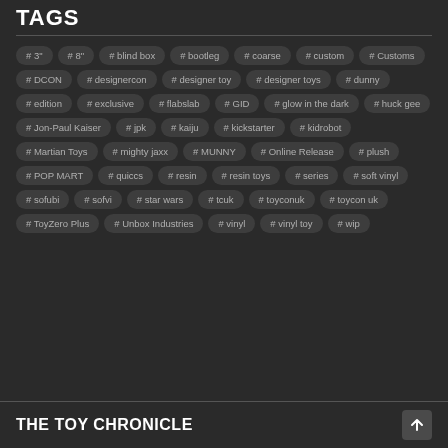TAGS
# 3"
# 8"
# blind box
# bootleg
# coarse
# custom
# Customs
# DCON
# designercon
# designer toy
# designer toys
# dunny
# edition
# exclusive
# flabslab
# GID
# glow in the dark
# huck gee
# Jon-Paul Kaiser
# jpk
# kaiju
# kickstarter
# kidrobot
# Martian Toys
# mighty jaxx
# MUNNY
# Online Release
# plush
# POP MART
# quiccs
# resin
# resin toys
# series
# soft vinyl
# sofubi
# sofvi
# star wars
# tcuk
# toyconuk
# toycon uk
# ToyZero Plus
# Unbox Industries
# vinyl
# vinyl toy
# wip
THE TOY CHRONICLE